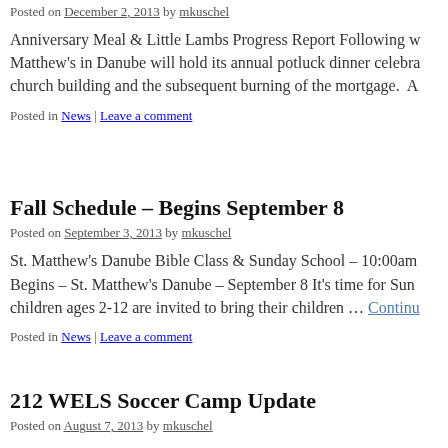Posted on December 2, 2013 by mkuschel
Anniversary Meal & Little Lambs Progress Report Following w Matthew's in Danube will hold its annual potluck dinner celebra church building and the subsequent burning of the mortgage.  A
Posted in News | Leave a comment
Fall Schedule – Begins September 8
Posted on September 3, 2013 by mkuschel
St. Matthew's Danube Bible Class & Sunday School – 10:00am Begins – St. Matthew's Danube – September 8 It's time for Sun children ages 2-12 are invited to bring their children … Continue
Posted in News | Leave a comment
212 WELS Soccer Camp Update
Posted on August 7, 2013 by mkuschel